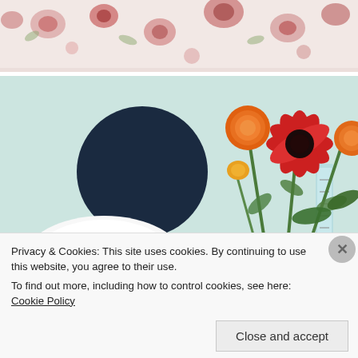[Figure (photo): Top portion of a photo showing a floral patterned bedsheet with pink/red flowers on white background]
[Figure (photo): Room photo showing a light green/mint wall with a large dark navy circle painted on it, a white circular object below, orange and red flowers (gerberas/ranunculus) in a vase on the right, and a ruler/measuring tape leaning against the wall]
Privacy & Cookies: This site uses cookies. By continuing to use this website, you agree to their use.
To find out more, including how to control cookies, see here: Cookie Policy
Close and accept